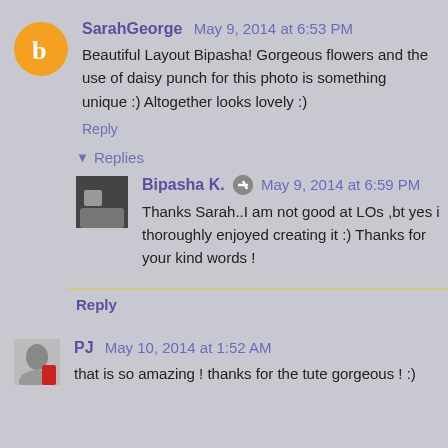[Figure (photo): Blogger orange circle avatar with white 'b' icon]
SarahGeorge May 9, 2014 at 6:53 PM
Beautiful Layout Bipasha! Gorgeous flowers and the use of daisy punch for this photo is something unique :) Altogether looks lovely :)
Reply
▾ Replies
[Figure (photo): Small black and white photo avatar for Bipasha K.]
Bipasha K. May 9, 2014 at 6:59 PM
Thanks Sarah..I am not good at LOs ,bt yes i thoroughly enjoyed creating it :) Thanks for your kind words !
Reply
[Figure (photo): Small photo avatar for PJ]
PJ May 10, 2014 at 1:52 AM
that is so amazing ! thanks for the tute gorgeous ! :)